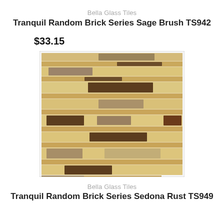Bella Glass Tiles
Tranquil Random Brick Series Sage Brush TS942
$33.15
[Figure (photo): Mosaic tile product photo showing a random brick pattern with beige/cream stone tiles interspersed with smaller dark brown and silvery-taupe glass accent tiles arranged in horizontal staggered rows.]
Bella Glass Tiles
Tranquil Random Brick Series Sedona Rust TS949